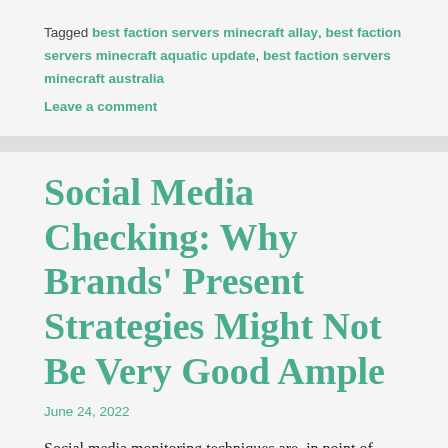Tagged best faction servers minecraft allay, best faction servers minecraft aquatic update, best faction servers minecraft australia
Leave a comment
Social Media Checking: Why Brands' Present Strategies Might Not Be Very Good Ample
June 24, 2022
Social media monitoring techniques are, in point of